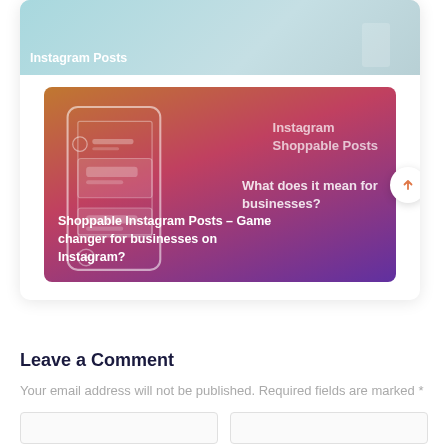[Figure (screenshot): Top card image: A Complete Guide on How to Add Links to Instagram Posts - header banner with teal/grey gradient and illustration]
[Figure (screenshot): Card image: Shoppable Instagram Posts - What does it mean for businesses? Orange to purple gradient with phone mockup overlay and white text caption 'Shoppable Instagram Posts – Game changer for businesses on Instagram?']
Leave a Comment
Your email address will not be published. Required fields are marked *